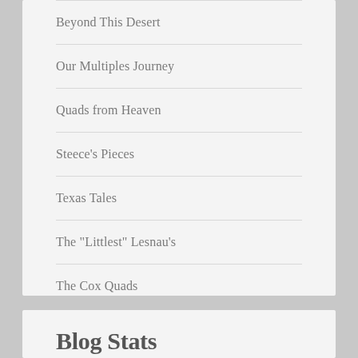Beyond This Desert
Our Multiples Journey
Quads from Heaven
Steece's Pieces
Texas Tales
The "Littlest" Lesnau's
The Cox Quads
Blog Stats